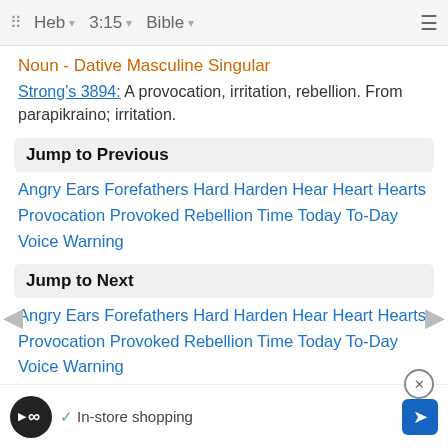Heb  3:15  Bible
Noun - Dative Masculine Singular
Strong's 3894: A provocation, irritation, rebellion. From parapikraino; irritation.
Jump to Previous
Angry Ears Forefathers Hard Harden Hear Heart Hearts Provocation Provoked Rebellion Time Today To-Day Voice Warning
Jump to Next
Angry Ears Forefathers Hard Harden Hear Heart Hearts Provocation Provoked Rebellion Time Today To-Day Voice Warning
Link
Hebre...
In-store shopping